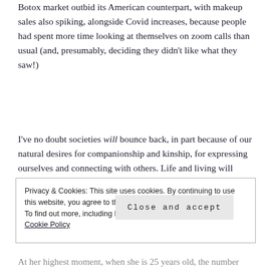Botox market outbid its American counterpart, with makeup sales also spiking, alongside Covid increases, because people had spent more time looking at themselves on zoom calls than usual (and, presumably, deciding they didn't like what they saw!)
I've no doubt societies will bounce back, in part because of our natural desires for companionship and kinship, for expressing ourselves and connecting with others. Life and living will adjust, and young people will find their own way and their own form of independence.
Privacy & Cookies: This site uses cookies. By continuing to use this website, you agree to their use.
To find out more, including how to control cookies, see here: Cookie Policy

Close and accept
At her highest moment, when she is 25 years old, the number